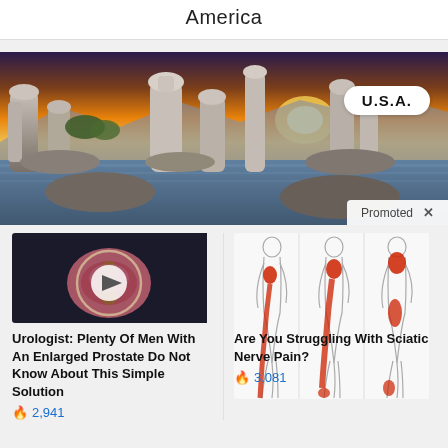America
[Figure (photo): Panoramic landscape photo of tufa rock formations at a lake at sunset, with a 'U.S.A.' badge overlay in the top right and a 'Promoted x' label in the bottom right corner]
[Figure (photo): Medical illustration showing a cross-section of a prostate gland with a video play button overlay]
Urologist: Plenty Of Men With An Enlarged Prostate Do Not Know About This Simple Solution
🔥 2,941
[Figure (illustration): Medical illustration showing three body outlines with red areas indicating sciatic nerve pain regions along the back, buttocks, and legs]
Are You Struggling With Sciatic Nerve Pain?
🔥 3,081